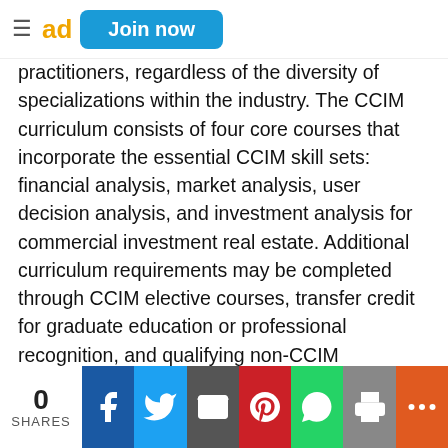≡  ad  Join now
practitioners, regardless of the diversity of specializations within the industry. The CCIM curriculum consists of four core courses that incorporate the essential CCIM skill sets: financial analysis, market analysis, user decision analysis, and investment analysis for commercial investment real estate. Additional curriculum requirements may be completed through CCIM elective courses, transfer credit for graduate education or professional recognition, and qualifying non-CCIM education. Following the course work, candidates must submit a portfolio of closed transactions and/or consultations showing a depth of experience in the commercial investment field. After fulfilling these requirements, candidates must successfully complete a comprehensive examination to earn the CCIM designation. This designation process ensures that CCIMs are proficient not only in theory, but also in
0 SHARES | f | Twitter | Email | Pinterest | WhatsApp | Print | +